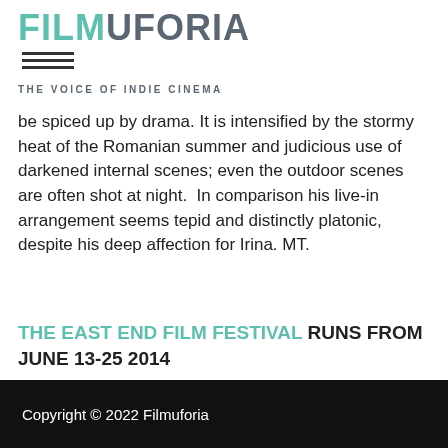[Figure (logo): Filmuforia logo with teal FILM and grey UFORIA text, underline lines, and tagline THE VOICE OF INDIE CINEMA]
be spiced up by drama. It is intensified by the stormy heat of the Romanian summer and judicious use of darkened internal scenes; even the outdoor scenes are often shot at night.  In comparison his live-in arrangement seems tepid and distinctly platonic, despite his deep affection for Irina. MT.
THE EAST END FILM FESTIVAL RUNS FROM JUNE 13-25 2014
[youtube id="9uXaGJqXnNc" width="600" height="350"]
Copyright © 2022 Filmuforia